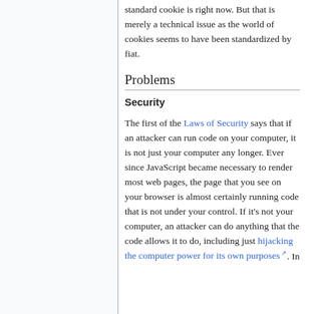standard cookie is right now. But that is merely a technical issue as the world of cookies seems to have been standardized by fiat.
Problems
Security
The first of the Laws of Security says that if an attacker can run code on your computer, it is not just your computer any longer. Ever since JavaScript became necessary to render most web pages, the page that you see on your browser is almost certainly running code that is not under your control. If it's not your computer, an attacker can do anything that the code allows it to do, including just hijacking the computer power for its own purposes. In